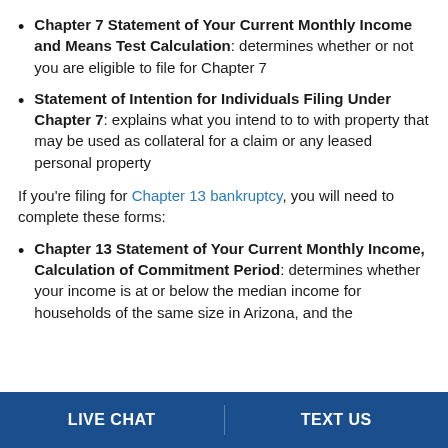Chapter 7 Statement of Your Current Monthly Income and Means Test Calculation: determines whether or not you are eligible to file for Chapter 7
Statement of Intention for Individuals Filing Under Chapter 7: explains what you intend to to with property that may be used as collateral for a claim or any leased personal property
If you're filing for Chapter 13 bankruptcy, you will need to complete these forms:
Chapter 13 Statement of Your Current Monthly Income, Calculation of Commitment Period: determines whether your income is at or below the median income for households of the same size in Arizona, and the
LIVE CHAT   TEXT US